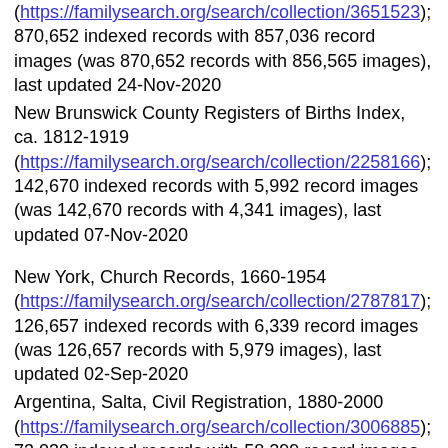(https://familysearch.org/search/collection/3651523); 870,652 indexed records with 857,036 record images (was 870,652 records with 856,565 images), last updated 24-Nov-2020
New Brunswick County Registers of Births Index, ca. 1812-1919 (https://familysearch.org/search/collection/2258166); 142,670 indexed records with 5,992 record images (was 142,670 records with 4,341 images), last updated 07-Nov-2020
New York, Church Records, 1660-1954 (https://familysearch.org/search/collection/2787817); 126,657 indexed records with 6,339 record images (was 126,657 records with 5,979 images), last updated 02-Sep-2020
Argentina, Salta, Civil Registration, 1880-2000 (https://familysearch.org/search/collection/3006885); 73,030 indexed records with 58,299 record images (was 72,841 records with 58,142 images), last updated 18-Feb-2021
--- Collections with images removed ---
Oregon, County Ashalt, Hollenstedt, Civil Registration...